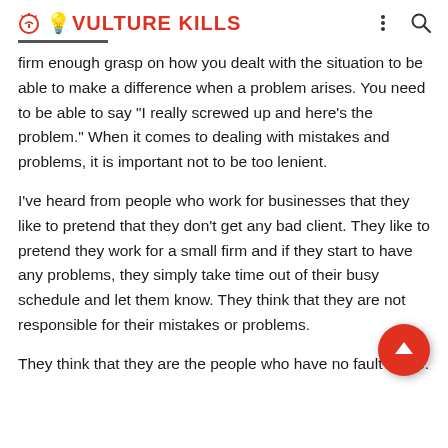VULTURE KILLS
firm enough grasp on how you dealt with the situation to be able to make a difference when a problem arises. You need to be able to say "I really screwed up and here's the problem." When it comes to dealing with mistakes and problems, it is important not to be too lenient.
I've heard from people who work for businesses that they like to pretend that they don't get any bad client. They like to pretend they work for a small firm and if they start to have any problems, they simply take time out of their busy schedule and let them know. They think that they are not responsible for their mistakes or problems.
They think that they are the people who have no fault in me.